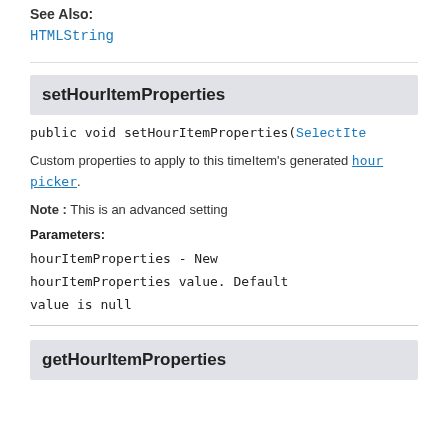See Also:
HTMLString
setHourItemProperties
public void setHourItemProperties(SelectIte
Custom properties to apply to this timeItem's generated hour picker.
Note : This is an advanced setting
Parameters:
hourItemProperties - New hourItemProperties value. Default value is null
getHourItemProperties